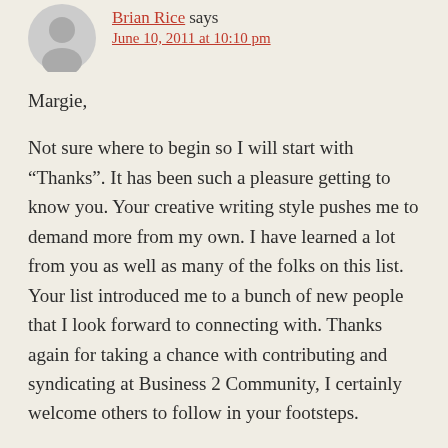Brian Rice says
June 10, 2011 at 10:10 pm
Margie,
Not sure where to begin so I will start with “Thanks”. It has been such a pleasure getting to know you. Your creative writing style pushes me to demand more from my own. I have learned a lot from you as well as many of the folks on this list. Your list introduced me to a bunch of new people that I look forward to connecting with. Thanks again for taking a chance with contributing and syndicating at Business 2 Community, I certainly welcome others to follow in your footsteps.
All the best,